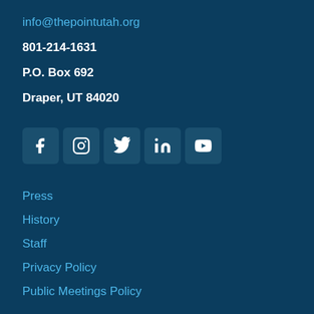info@thepointutah.org
801-214-1631
P.O. Box 692
Draper, UT 84020
[Figure (other): Row of 5 social media icon buttons: Facebook, Instagram, Twitter, LinkedIn, YouTube]
Press
History
Staff
Privacy Policy
Public Meetings Policy